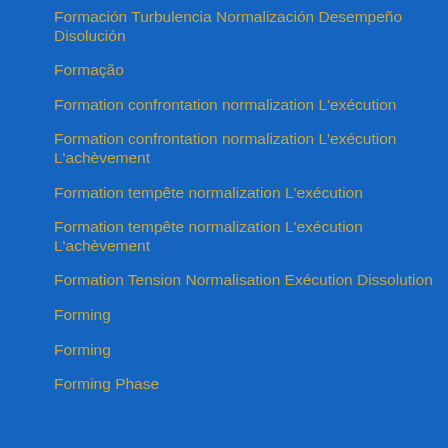Formación Turbulencia Normalización Desempeño Disolución
Formação
Formation confrontation normalization L'exécution
Formation confrontation normalization L'exécution L'achèvement
Formation tempête normalization L'exécution
Formation tempête normalization L'exécution L'achèvement
Formation Tension Normalisation Exécution Dissolution
Forming
Forming
Forming Phase